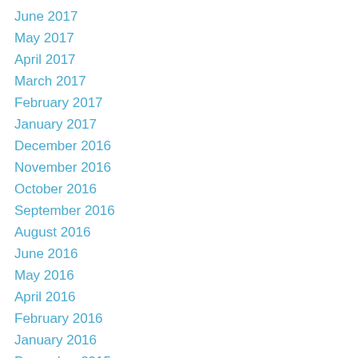June 2017
May 2017
April 2017
March 2017
February 2017
January 2017
December 2016
November 2016
October 2016
September 2016
August 2016
June 2016
May 2016
April 2016
February 2016
January 2016
December 2015
November 2015
September 2015
August 2015